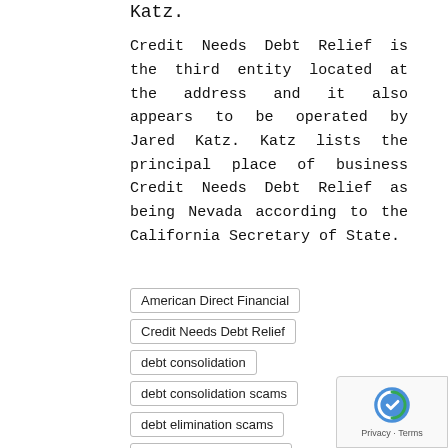Katz.
Credit Needs Debt Relief is the third entity located at the address and it also appears to be operated by Jared Katz. Katz lists the principal place of business Credit Needs Debt Relief as being Nevada according to the California Secretary of State.
American Direct Financial
Credit Needs Debt Relief
debt consolidation
debt consolidation scams
debt elimination scams
debt elimination scheme
debt forgiveness
jared katz
Micah Katz
Personal Loans